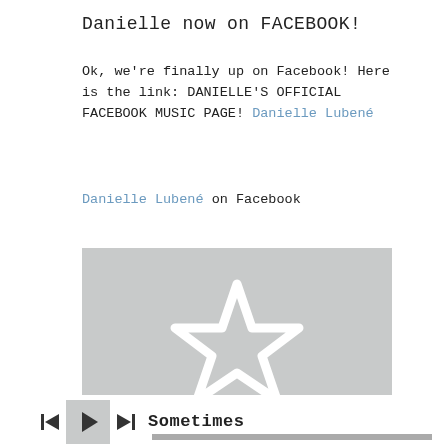Danielle now on FACEBOOK!
Ok, we're finally up on Facebook! Here is the link: DANIELLE'S OFFICIAL FACEBOOK MUSIC PAGE! Danielle Lubené
Danielle Lubené on Facebook
[Figure (illustration): Gray rectangle with a white star outline in the center — a media player album art placeholder]
Sometimes